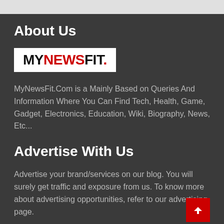About Us
[Figure (logo): MYNEWSFIT. logo — MY in black, NEWS in red, FIT in black, period in red, all on white background]
MyNewsFit.Com is a Mainly Based on Queries And Information Where You Can Find Tech, Health, Game, Gadget, Electronics, Education, Wiki, Biography, News, Etc...
Advertise With Us
Advertise your brand/services on our blog. You will surely get traffic and exposure from us. To know more about advertising opportunities, refer to our advertising page.